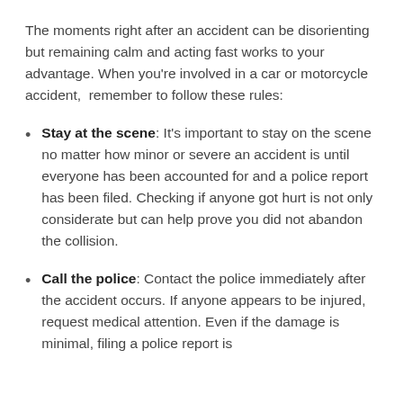The moments right after an accident can be disorienting but remaining calm and acting fast works to your advantage. When you're involved in a car or motorcycle accident,  remember to follow these rules:
Stay at the scene: It's important to stay on the scene no matter how minor or severe an accident is until everyone has been accounted for and a police report has been filed. Checking if anyone got hurt is not only considerate but can help prove you did not abandon the collision.
Call the police: Contact the police immediately after the accident occurs. If anyone appears to be injured, request medical attention. Even if the damage is minimal, filing a police report is